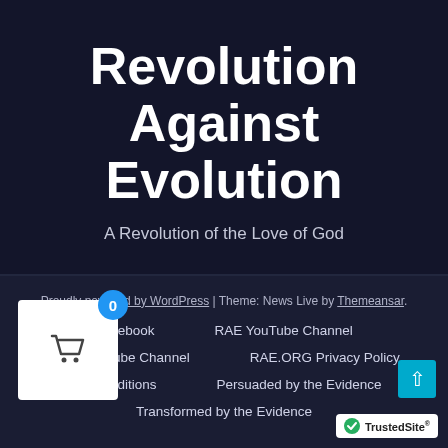Revolution Against Evolution
A Revolution of the Love of God
Proudly powered by WordPress | Theme: News Live by Themeansar.
Facebook
RAE YouTube Channel
RAE GodTube Channel
RAE.ORG Privacy Policy
and Conditions
Persuaded by the Evidence
Transformed by the Evidence
[Figure (other): Shopping cart widget with badge showing 0]
[Figure (logo): TrustedSite badge with green checkmark]